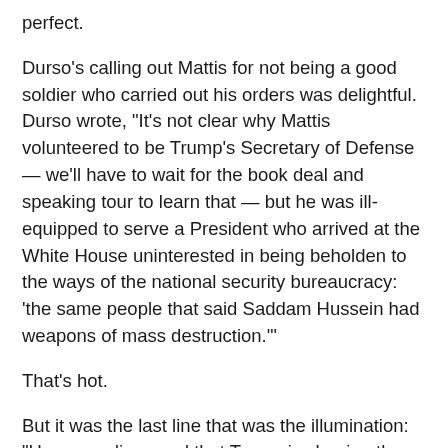perfect.
Durso's calling out Mattis for not being a good soldier who carried out his orders was delightful. Durso wrote, "It's not clear why Mattis volunteered to be Trump's Secretary of Defense — we'll have to wait for the book deal and speaking tour to learn that — but he was ill-equipped to serve a President who arrived at the White House uninterested in being beholden to the ways of the national security bureaucracy: 'the same people that said Saddam Hussein had weapons of mass destruction.'"
That's hot.
But it was the last line that was the illumination: "He never discerned that Trump is clearing the decks before the looming contest with China, ridding the U.S. of legacy conflicts like Syria where we won't win, and Afghanistan where we've already lost."
A closed society, Red China is open about one thing. It wants to depose the United States as the top dog in the